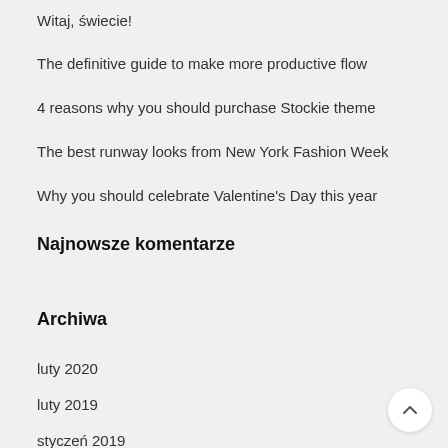Witaj, świecie!
The definitive guide to make more productive flow
4 reasons why you should purchase Stockie theme
The best runway looks from New York Fashion Week
Why you should celebrate Valentine's Day this year
Najnowsze komentarze
Archiwa
luty 2020
luty 2019
styczeń 2019